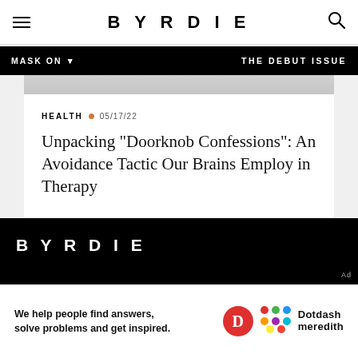BYRDIE
MASK ON ▼   THE DEBUT ISSUE
[Figure (photo): Partial view of an article hero image strip in grayscale]
HEALTH • 05/17/22
Unpacking "Doorknob Confessions": An Avoidance Tactic Our Brains Employ in Therapy
BYRDIE
Ad
We help people find answers, solve problems and get inspired.   Dotdash meredith